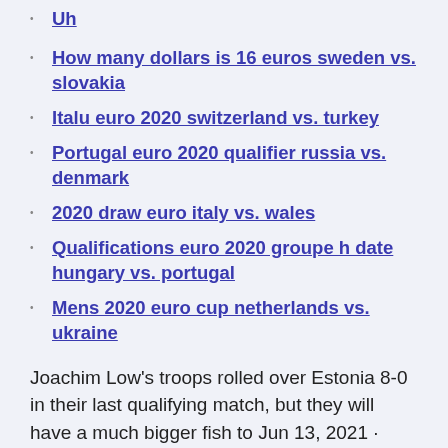Uh
How many dollars is 16 euros sweden vs. slovakia
Italu euro 2020 switzerland vs. turkey
Portugal euro 2020 qualifier russia vs. denmark
2020 draw euro italy vs. wales
Qualifications euro 2020 groupe h date hungary vs. portugal
Mens 2020 euro cup netherlands vs. ukraine
Joachim Low's troops rolled over Estonia 8-0 in their last qualifying match, but they will have a much bigger fish to Jun 13, 2021 · Chính vì thế, cho dù vượt qua vòng loại EURO 2020 với tư cách đầu bảng E, nhưng màn trình diễn của Croatia không thuyết phục.